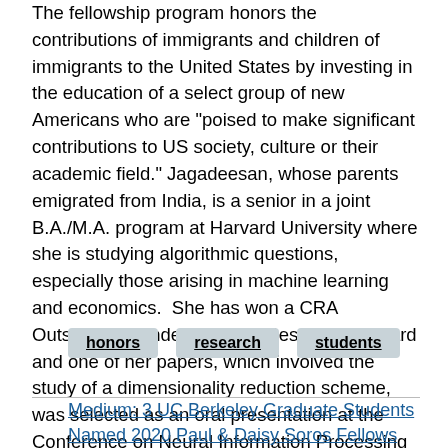The fellowship program honors the contributions of immigrants and children of immigrants to the United States by investing in the education of a select group of new Americans who are "poised to make significant contributions to US society, culture or their academic field." Jagadeesan, whose parents emigrated from India, is a senior in a joint B.A./M.A. program at Harvard University where she is studying algorithmic questions, especially those arising in machine learning and economics.  She has won a CRA Outstanding Undergraduate Researcher award and one of her papers, which involved the study of a dimensionality reduction scheme, was selected as an oral presentation at the Conference on Neural Information Processing Systems (NeurIPS).  Each Fellow will receive up to $90K in financial support over two years.
honors
research
students
Medium: 3 UC Berkeley Graduate Students Named 2020 Paul & Daisy Soros Fellows